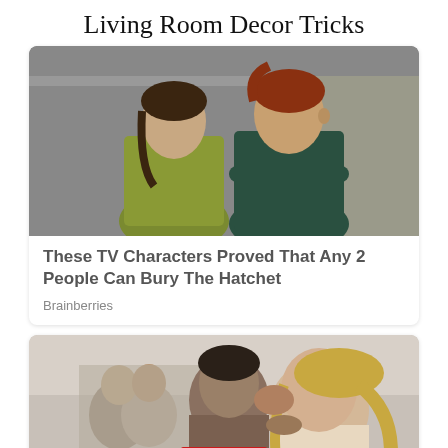Living Room Decor Tricks
[Figure (photo): Two women from a TV show standing in a hallway, one wearing an olive/yellow top and the other wearing a dark green dress with arms crossed]
These TV Characters Proved That Any 2 People Can Bury The Hatchet
Brainberries
[Figure (photo): A man and woman kissing in what appears to be a bathroom or medical setting, with another couple visible in the background; a red CLOSE button is overlaid at the bottom center]